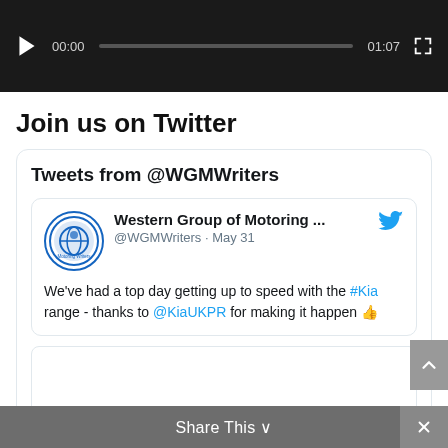[Figure (screenshot): Video player control bar: play button, time 00:00, progress bar, duration 01:07, fullscreen button on dark background]
Join us on Twitter
Tweets from @WGMWriters
Western Group of Motoring ... @WGMWriters · May 31 We've had a top day getting up to speed with the #Kia range - thanks to @KiaUKPR for making it happen 👍
Share This ∨